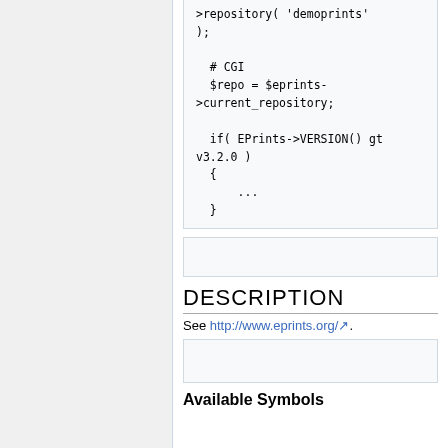>repository( 'demoprints' );

# CGI
$repo = $eprints->current_repository;

if( EPrints->VERSION() gt v3.2.0 )
  {
      ...
  }
DESCRIPTION
See http://www.eprints.org/.
Available Symbols